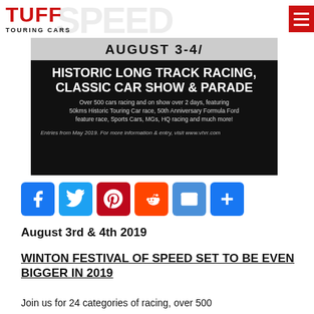[Figure (logo): TUFF TOURING CARS logo in red bold text with subtitle]
[Figure (illustration): Event promotional banner for Winton Festival of Speed August 3-4 2019 featuring Historic Long Track Racing Classic Car Show & Parade on black background]
[Figure (infographic): Social share buttons: Facebook, Twitter, Pinterest, Reddit, Email, Share]
August 3rd & 4th 2019
WINTON FESTIVAL OF SPEED SET TO BE EVEN BIGGER IN 2019
Join us for 24 categories of racing, over 500...